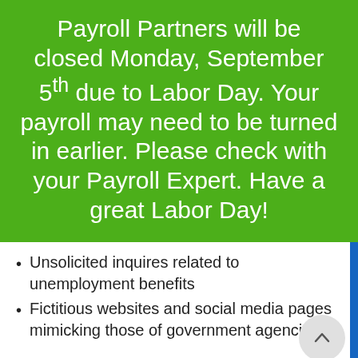Payroll Partners will be closed Monday, September 5th due to Labor Day. Your payroll may need to be turned in earlier. Please check with your Payroll Expert. Have a great Labor Day!
Unsolicited inquires related to unemployment benefits
Fictitious websites and social media pages mimicking those of government agencies
Shares